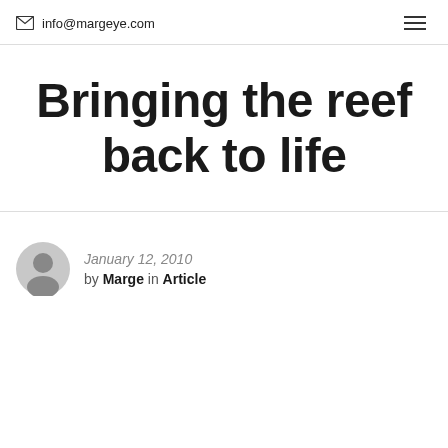info@margeye.com
Bringing the reef back to life
January 12, 2010 by Marge in Article